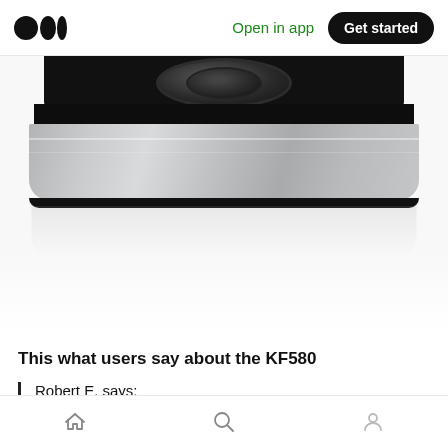Open in app  Get started
[Figure (photo): Close-up product photo of a Braun KF580 coffee maker showing its black top section and brushed stainless steel silver base, with a white/light reflection below]
This what users say about the KF580
Robert E. says:
The Braun? Awesome! The 580 brews 8 cups in 7
Home  Search  Profile